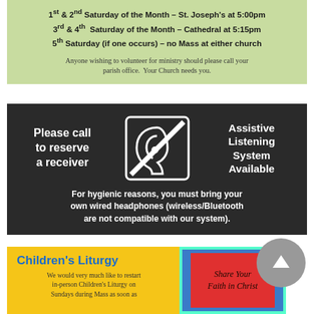1st & 2nd Saturday of the Month – St. Joseph's at 5:00pm
3rd & 4th Saturday of the Month – Cathedral at 5:15pm
5th Saturday (if one occurs) – no Mass at either church
Anyone wishing to volunteer for ministry should please call your parish office. Your Church needs you.
[Figure (infographic): Dark background assistive listening system notice with ear icon. Text: 'Please call to reserve a receiver', 'Assistive Listening System Available', 'For hygienic reasons, you must bring your own wired headphones (wireless/Bluetooth are not compatible with our system).']
Children's Liturgy
We would very much like to restart in-person Children's Liturgy on Sundays during Mass as soon as
[Figure (illustration): Share Your Faith in Christ book/illustration with colorful border]